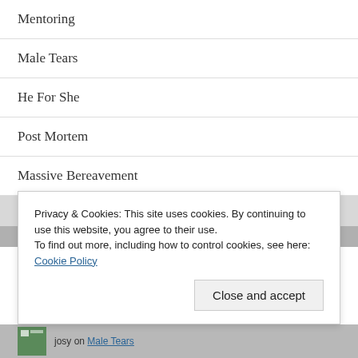Mentoring
Male Tears
He For She
Post Mortem
Massive Bereavement
RECENT COMMENTS
Privacy & Cookies: This site uses cookies. By continuing to use this website, you agree to their use. To find out more, including how to control cookies, see here: Cookie Policy
Close and accept
josy on Male Tears